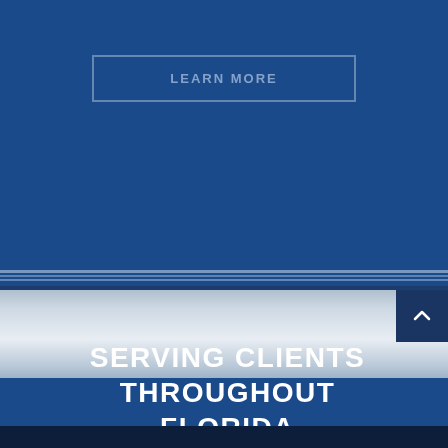[Figure (illustration): Blue background with a 'LEARN MORE' button outlined in a light blue rectangle border in the upper center. Below is a metallic silver horizontal band representing a vehicle or train body, with curved dark blue rails at the top. The overall design is a website screenshot or UI banner.]
SERVING CLIENTS THROUGHOUT FLORIDA